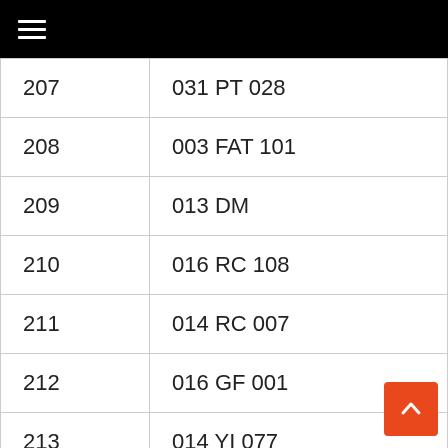≡
| 207 | 031 PT 028 |
| 208 | 003 FAT 101 |
| 209 | 013 DM |
| 210 | 016 RC 108 |
| 211 | 014 RC 007 |
| 212 | 016 GF 001 |
| 213 | 014 YI 077 |
| 214 | 016 RC 054 |
| 215 | 014 CLR 100 |